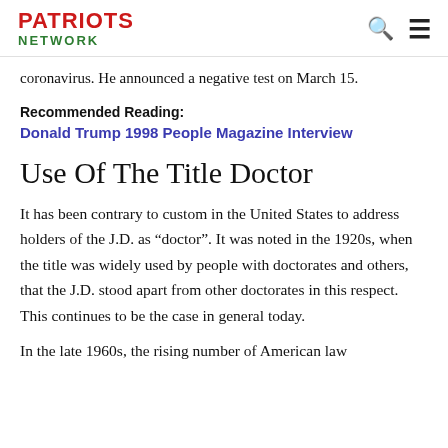PATRIOTS NETWORK
coronavirus. He announced a negative test on March 15.
Recommended Reading:
Donald Trump 1998 People Magazine Interview
Use Of The Title Doctor
It has been contrary to custom in the United States to address holders of the J.D. as “doctor”. It was noted in the 1920s, when the title was widely used by people with doctorates and others, that the J.D. stood apart from other doctorates in this respect. This continues to be the case in general today.
In the late 1960s, the rising number of American law